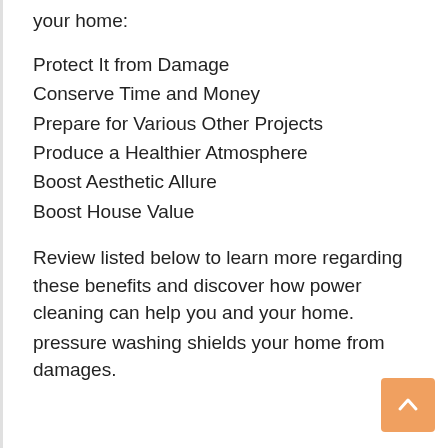your home:
Protect It from Damage
Conserve Time and Money
Prepare for Various Other Projects
Produce a Healthier Atmosphere
Boost Aesthetic Allure
Boost House Value
Review listed below to learn more regarding these benefits and discover how power cleaning can help you and your home.
pressure washing shields your home from damages.